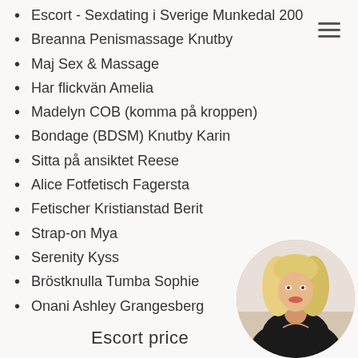Escort - Sexdating i Sverige Munkedal 200
Breanna Penismassage Knutby
Maj Sex & Massage
Har flickvän Amelia
Madelyn COB (komma på kroppen)
Bondage (BDSM) Knutby Karin
Sitta på ansiktet Reese
Alice Fotfetisch Fagersta
Fetischer Kristianstad Berit
Strap-on Mya
Serenity Kyss
Bröstknulla Tumba Sophie
Onani Ashley Grangesberg
Escort price
[Figure (photo): Circular avatar photo of a blonde woman in dark clothing]